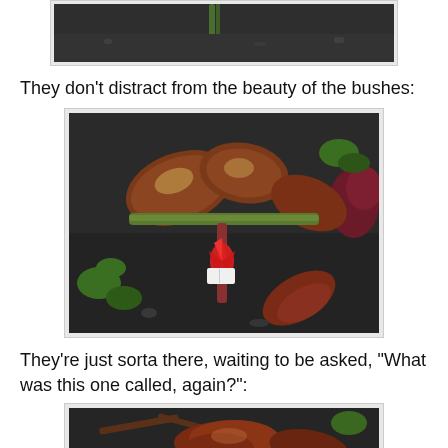[Figure (photo): Partial photo at top of page showing rose bush stems/leaves against dark soil background, cropped]
They don't distract from the beauty of the bushes:
[Figure (photo): Close-up photo of a rose bush with reddish-brown leaves and a small red new growth bud with a plant label tag, set against dark soil with other plants visible in background]
They're just sorta there, waiting to be asked, "What was this one called, again?":
[Figure (photo): Partial photo at bottom of page showing another rose bush with dark reddish-brown leaves against dark soil, cropped/cut off at bottom]